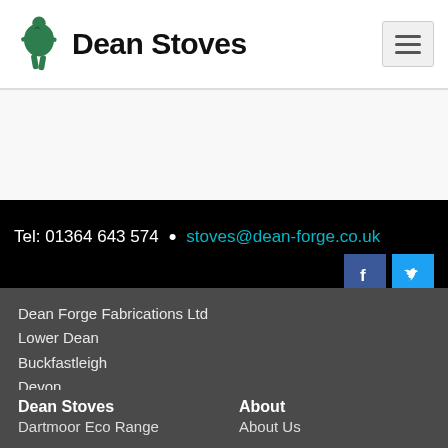Dean Stoves
Tel: 01364 643 574  •  stoves@dean-forge.co.uk
Dean Forge Fabrications Ltd
Lower Dean
Buckfastleigh
Devon
TQ11 0LS
Tel: 01364 643574 Option 1 – Customers
Tel: 01364 643574 Option 2 – Uk Stockists
Email: stoves@dean-forge.co.uk
Dean Stoves
Dartmoor Eco Range
About
About Us